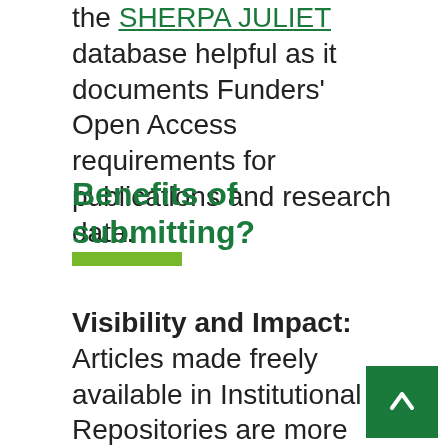the SHERPA JULIET database helpful as it documents Funders' Open Access requirements for publications and research data.
Benefits of submitting?
Visibility and Impact: Articles made freely available in Institutional Repositories are more accessible to a wider audience and avoid the cost barriers for those without subscription access to journals; even those at 'wealthy'